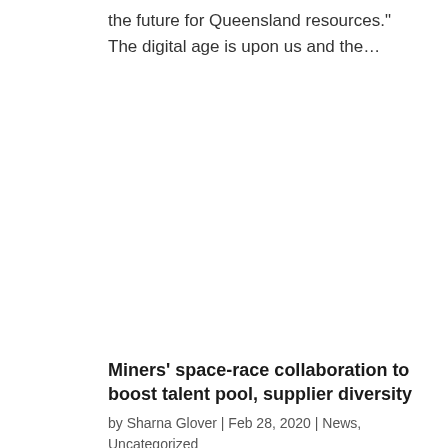the future for Queensland resources." The digital age is upon us and the...
Miners' space-race collaboration to boost talent pool, supplier diversity
by Sharna Glover | Feb 28, 2020 | News, Uncategorized